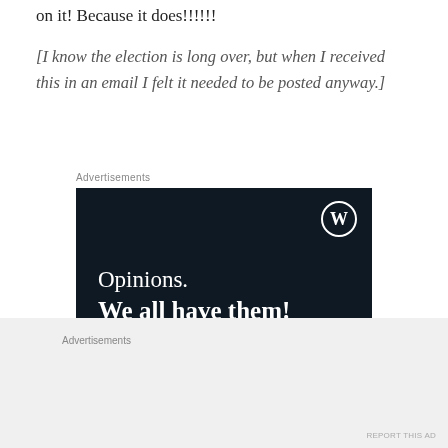on it! Because it does!!!!!!
[I know the election is long over, but when I received this in an email I felt it needed to be posted anyway.]
Advertisements
[Figure (screenshot): WordPress advertisement on dark navy background with text 'Opinions. We all have them!' with WordPress logo, a pink 'Start a survey' button, and a circular white privacy badge with blue text.]
Advertisements
REPORT THIS AD